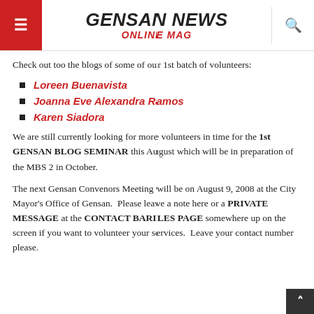GENSAN NEWS ONLINE MAG
Check out too the blogs of some of our 1st batch of volunteers:
Loreen Buenavista
Joanna Eve Alexandra Ramos
Karen Siadora
We are still currently looking for more volunteers in time for the 1st GENSAN BLOG SEMINAR this August which will be in preparation of the MBS 2 in October.
The next Gensan Convenors Meeting will be on August 9, 2008 at the City Mayor's Office of Gensan.  Please leave a note here or a PRIVATE MESSAGE at the CONTACT BARILES PAGE somewhere up on the screen if you want to volunteer your services.  Leave your contact number please.